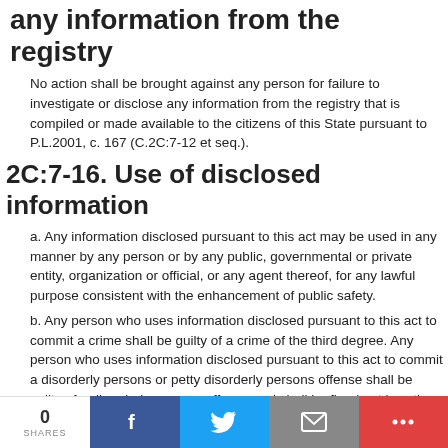any information from the registry
No action shall be brought against any person for failure to investigate or disclose any information from the registry that is compiled or made available to the citizens of this State pursuant to P.L.2001, c. 167 (C.2C:7-12 et seq.).
2C:7-16. Use of disclosed information
a. Any information disclosed pursuant to this act may be used in any manner by any person or by any public, governmental or private entity, organization or official, or any agent thereof, for any lawful purpose consistent with the enhancement of public safety.
b. Any person who uses information disclosed pursuant to this act to commit a crime shall be guilty of a crime of the third degree. Any person who uses information disclosed pursuant to this act to commit a disorderly persons or petty disorderly persons offense shall be guilty of a disorderly persons offense and shall be fined not less than $500 or
0 SHARES